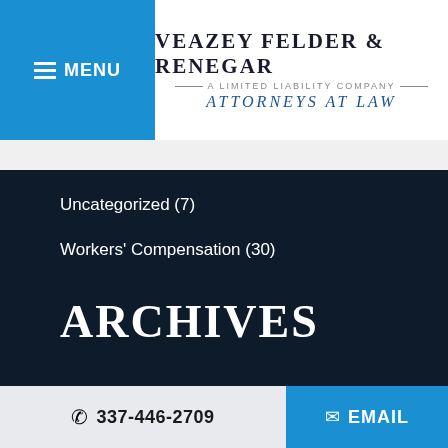MENU | VEAZEY FELDER & RENEGAR — A LIMITED LIABILITY COMPANY — ATTORNEYS AT LAW
Uncategorized (7)
Workers' Compensation (30)
ARCHIVES
Select Month
RSS
Subscribe To This Blog's Feed
337-446-2709  EMAIL